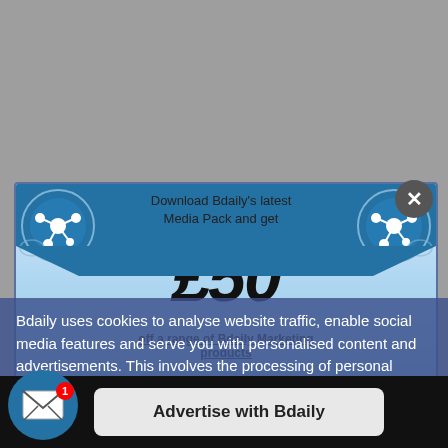[Figure (infographic): Bdaily media pack promotional modal popup with decorative blue ribbon design, £50 offer, and 'Access your exclusive code' button overlaid on a webpage with cookie consent overlay and 'Advertise with Bdaily' bottom bar notification]
Download Bdaily's latest Media Pack and get
£50
off a range of Bdaily Marketing products
Access your exclusive code →
Bdaily uses cookies to analyse website traffic, enable social media features and serve you with personalised content and advertisements. This involves the processing of personal information including your IP address and browsing behaviour. For more information, please see our Cookies Policy
Advertise with Bdaily